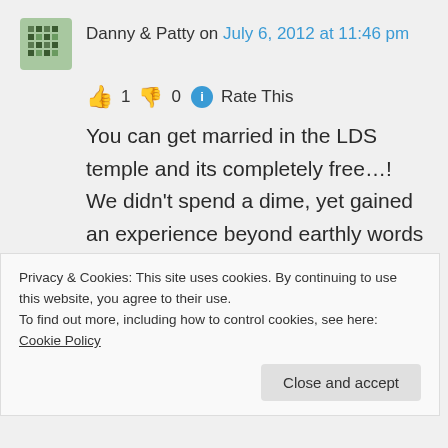Danny & Patty on July 6, 2012 at 11:46 pm
👍 1 👎 0 ℹ Rate This
You can get married in the LDS temple and its completely free…! We didn't spend a dime, yet gained an experience beyond earthly words to describe what it feels and how close you come to feel Gods
Privacy & Cookies: This site uses cookies. By continuing to use this website, you agree to their use.
To find out more, including how to control cookies, see here: Cookie Policy
Close and accept